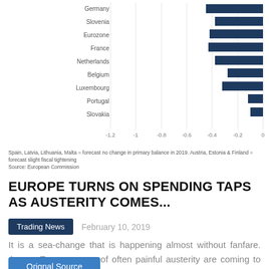[Figure (bar-chart): Forecast fiscal loosening (% of GDP)]
Spain, Latvia, Lithuania, Malta = forecast no change in primary balance in 2019. Austria, Estonia & Finland = forecast slight fiscal tightening
Source: European Commission
EUROPE TURNS ON SPENDING TAPS AS AUSTERITY COMES...
Trading News
February 10, 2019
It is a sea-change that is happening almost without fanfare. Across Europe, years of often painful austerity are coming to an end, as governments ranging from the traditionally profligate to the more conservative loosen the...
Orignal Source